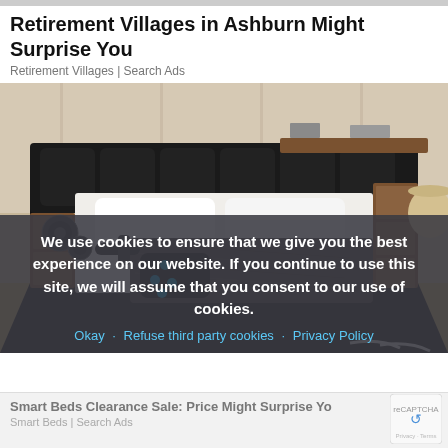Retirement Villages in Ashburn Might Surprise You
Retirement Villages | Search Ads
[Figure (photo): A luxury smart bed with black leather upholstery, built-in wooden storage shelves, speakers, massage controls with blue LED lights, and a textured dark blanket on a patterned rug in a bedroom setting.]
We use cookies to ensure that we give you the best experience on our website. If you continue to use this site, we will assume that you consent to our use of cookies.
Okay   Refuse third party cookies   Privacy Policy
Smart Beds Clearance Sale: Price Might Surprise Yo
Smart Beds | Search Ads